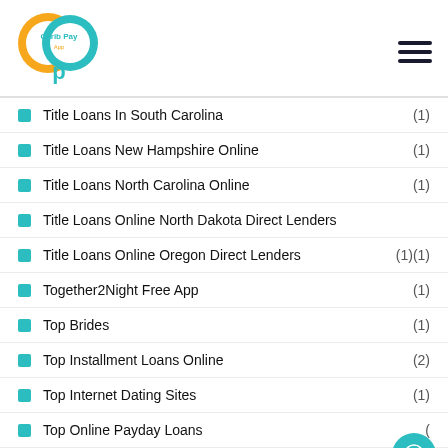[Figure (logo): Carib Pay App logo — two interlocking circles in orange and teal with 'Carib Pay App' text and a 'p' drop below]
Title Loans In South Carolina (1)
Title Loans New Hampshire Online (1)
Title Loans North Carolina Online (1)
Title Loans Online North Dakota Direct Lenders
Title Loans Online Oregon Direct Lenders (1)(1)
Together2Night Free App (1)
Top Brides (1)
Top Installment Loans Online (2)
Top Internet Dating Sites (1)
Top Online Payday Loans (
Top Pay Day Loan (2)